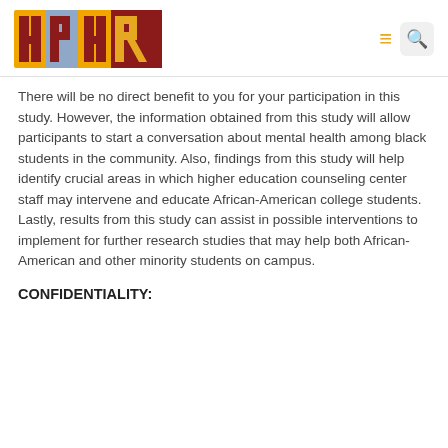HPHR
There will be no direct benefit to you for your participation in this study. However, the information obtained from this study will allow participants to start a conversation about mental health among black students in the community. Also, findings from this study will help identify crucial areas in which higher education counseling center staff may intervene and educate African-American college students. Lastly, results from this study can assist in possible interventions to implement for further research studies that may help both African-American and other minority students on campus.
CONFIDENTIALITY: